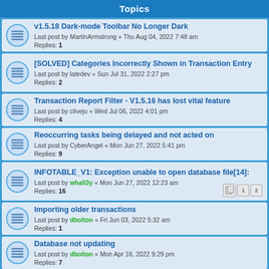Topics
v1.5.18 Dark-mode Toolbar No Longer Dark
Last post by MartinArmstrong « Thu Aug 04, 2022 7:48 am
Replies: 1
[SOLVED] Categories Incorrectly Shown in Transaction Entry
Last post by latedev « Sun Jul 31, 2022 2:27 pm
Replies: 2
Transaction Report Filter - V1.5.16 has lost vital feature
Last post by cliveju « Wed Jul 06, 2022 4:01 pm
Replies: 4
Reoccurring tasks being delayed and not acted on
Last post by CyberAngel « Mon Jun 27, 2022 5:41 pm
Replies: 9
INFOTABLE_V1: Exception unable to open database file[14]:
Last post by whall3y « Mon Jun 27, 2022 12:23 am
Replies: 16
Importing older transactions
Last post by dbolton « Fri Jun 03, 2022 5:32 am
Replies: 1
Database not updating
Last post by dbolton « Mon Apr 18, 2022 9:29 pm
Replies: 7
Windows Defender blocking install
Last post by Renato « Sat Mar 26, 2022 9:35 am
Replies: 1